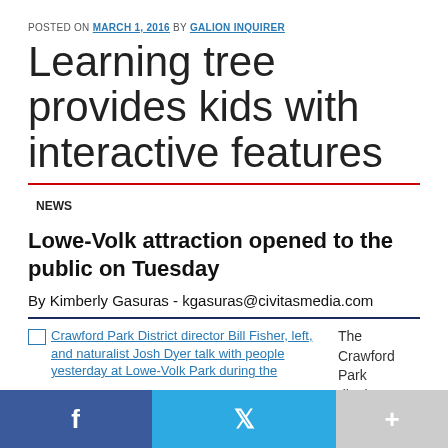POSTED ON MARCH 1, 2016 BY GALION INQUIRER
Learning tree provides kids with interactive features
NEWS
Lowe-Volk attraction opened to the public on Tuesday
By Kimberly Gasuras - kgasuras@civitasmedia.com
[Figure (photo): Crawford Park District director Bill Fisher, left, and naturalist Josh Dyer talk with people yesterday at Lowe-Volk Park during the event]
The Crawford Park district...
f  Twitter  +